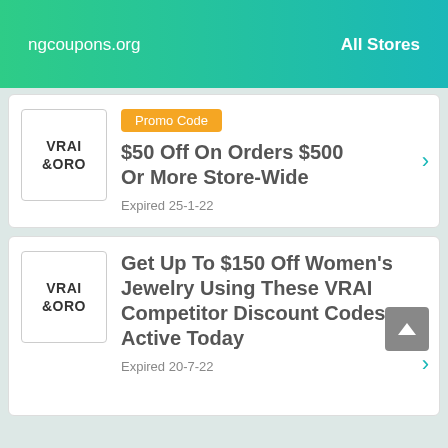ngcoupons.org   All Stores
Promo Code
[Figure (logo): VRAI &ORO brand logo in black text on white background]
$50 Off On Orders $500 Or More Store-Wide
Expired 25-1-22
[Figure (logo): VRAI &ORO brand logo in black text on white background]
Get Up To $150 Off Women's Jewelry Using These VRAI Competitor Discount Codes Active Today
Expired 20-7-22